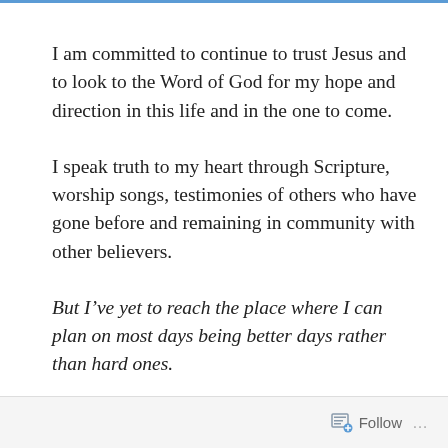I am committed to continue to trust Jesus and to look to the Word of God for my hope and direction in this life and in the one to come.
I speak truth to my heart through Scripture, worship songs, testimonies of others who have gone before and remaining in community with other believers.
But I’ve yet to reach the place where I can plan on most days being better days rather than hard ones.
I’m trying.
Follow …